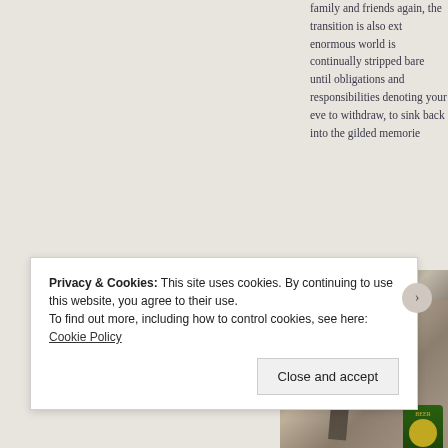family and friends again, the transition is also ext enormous world is continually stripped bare until obligations and responsibilities denoting your eve to withdraw, to sink back into the gilded memorie
[Figure (photo): Photo of two people holding a bottle, with Thai script signage visible in the background. A hand in the foreground holds up what appears to be a beer bottle.]
Privacy & Cookies: This site uses cookies. By continuing to use this website, you agree to their use.
To find out more, including how to control cookies, see here: Cookie Policy
Close and accept